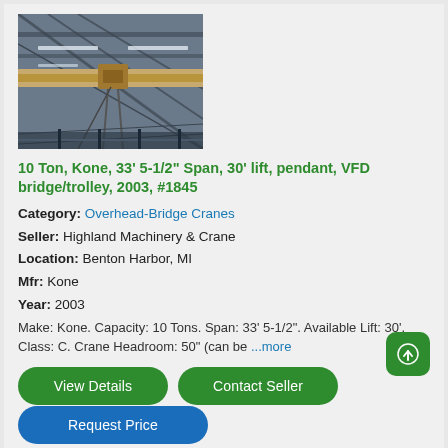[Figure (photo): Overhead bridge crane viewed from below inside an industrial facility, showing the crane beam and trolley against metal roof framing and fluorescent lighting.]
10 Ton, Kone, 33' 5-1/2" Span, 30' lift, pendant, VFD bridge/trolley, 2003, #1845
Category: Overhead-Bridge Cranes
Seller: Highland Machinery & Crane
Location: Benton Harbor, MI
Mfr: Kone
Year: 2003
Make: Kone. Capacity: 10 Tons. Span: 33' 5-1/2". Available Lift: 30'. Class: C. Crane Headroom: 50" (can be ...more